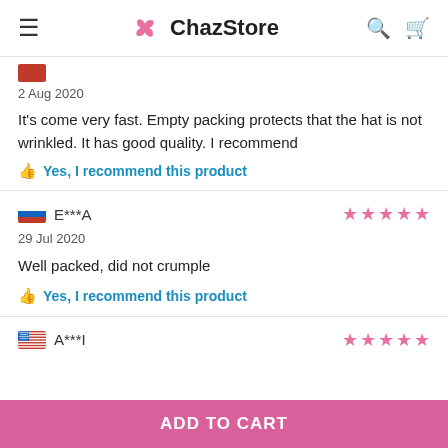ChazStore
2 Aug 2020
It's come very fast. Empty packing protects that the hat is not wrinkled. It has good quality. I recommend
Yes, I recommend this product
E***A
29 Jul 2020
Well packed, did not crumple
Yes, I recommend this product
A***I
ADD TO CART